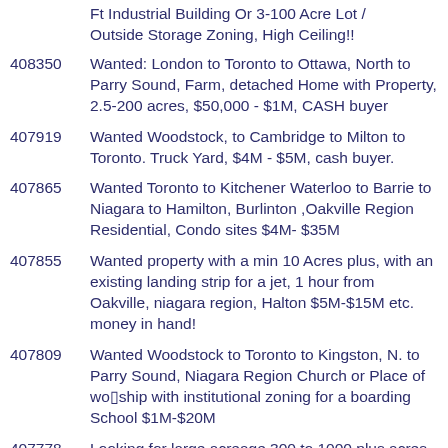(partial) Ft Industrial Building Or 3-100 Acre Lot / Outside Storage Zoning, High Ceiling!!
408350 Wanted: London to Toronto to Ottawa, North to Parry Sound, Farm, detached Home with Property, 2.5-200 acres, $50,000 - $1M, CASH buyer
407919 Wanted Woodstock, to Cambridge to Milton to Toronto. Truck Yard, $4M - $5M, cash buyer.
407865 Wanted Toronto to Kitchener Waterloo to Barrie to Niagara to Hamilton, Burlinton ,Oakville Region Residential, Condo sites $4M- $35M
407855 Wanted property with a min 10 Acres plus, with an existing landing strip for a jet, 1 hour from Oakville, niagara region, Halton $5M-$15M etc. money in hand!
407809 Wanted Woodstock to Toronto to Kingston, N. to Parry Sound, Niagara Region Church or Place of wo▯ship with institutional zoning for a boarding School $1M-$20M
407778 Looking for large acreage 300 to 1000 plus acres
407774 WANTED! GTA, Burlington to Toronto to Oshawa, N to Barrie, Residential &